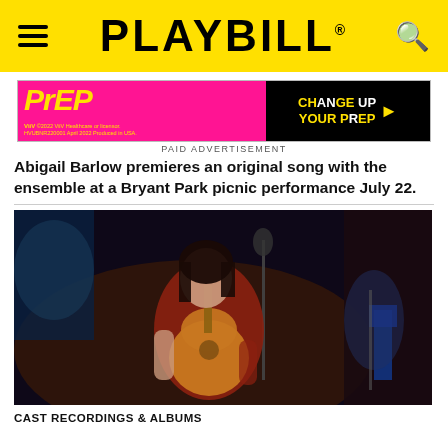PLAYBILL
[Figure (photo): Paid advertisement banner for PrEP medication by ViiV Healthcare - pink and black banner reading 'CHANGE UP YOUR PrEP']
PAID ADVERTISEMENT
Abigail Barlow premieres an original song with the ensemble at a Bryant Park picnic performance July 22.
[Figure (photo): Woman with dark hair playing an acoustic guitar on a stage, performing at what appears to be a concert or show, with other musicians visible in the background]
CAST RECORDINGS & ALBUMS